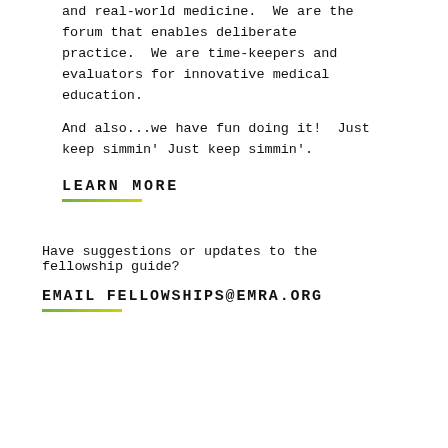and real-world medicine.  We are the forum that enables deliberate practice.  We are time-keepers and evaluators for innovative medical education.
And also...we have fun doing it!  Just keep simmin' Just keep simmin'.
LEARN MORE
Have suggestions or updates to the fellowship guide?
EMAIL FELLOWSHIPS@EMRA.ORG